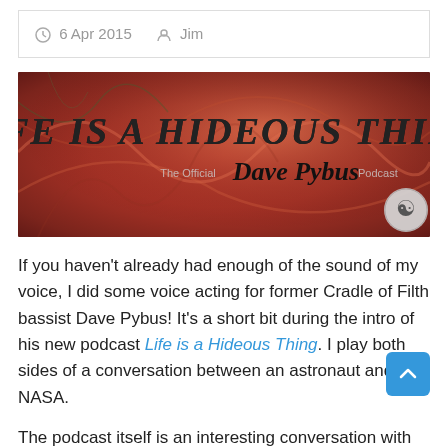6 Apr 2015  Jim
[Figure (illustration): Banner image for 'Life is a Hideous Thing' — The Official Dave Pybus Podcast, with decorative metal-style lettering on a red swirling background with a skull/face icon in the bottom right.]
If you haven't already had enough of the sound of my voice, I did some voice acting for former Cradle of Filth bassist Dave Pybus! It's a short bit during the intro of his new podcast Life is a Hideous Thing. I play both sides of a conversation between an astronaut and NASA.
The podcast itself is an interesting conversation with renowned fantasy & D&D artist Brom, so it's right up our alley.
If you ever wanted to hear me talking to myself in a more